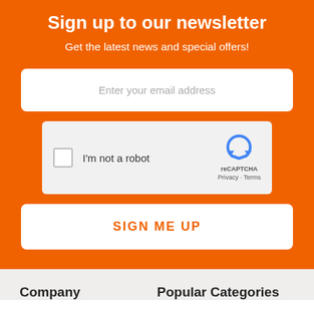Sign up to our newsletter
Get the latest news and special offers!
[Figure (screenshot): Email address input field with placeholder text 'Enter your email address']
[Figure (screenshot): reCAPTCHA widget with checkbox and 'I'm not a robot' label]
[Figure (screenshot): Sign me up button]
Company
Popular Categories